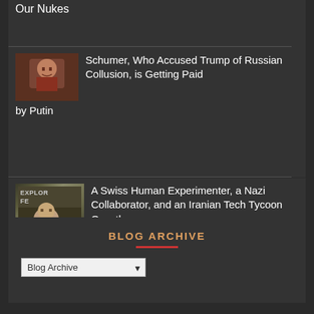Our Nukes
[Figure (photo): Thumbnail photo of Schumer, appears to be a man in a dark setting]
Schumer, Who Accused Trump of Russian Collusion, is Getting Paid by Putin
[Figure (photo): Thumbnail showing 'EXPLOR FE' text overlay, appears to be a festival event photo of an older man]
A Swiss Human Experimenter, a Nazi Collaborator, and an Iranian Tech Tycoon Own the Democrats
BLOG ARCHIVE
Blog Archive